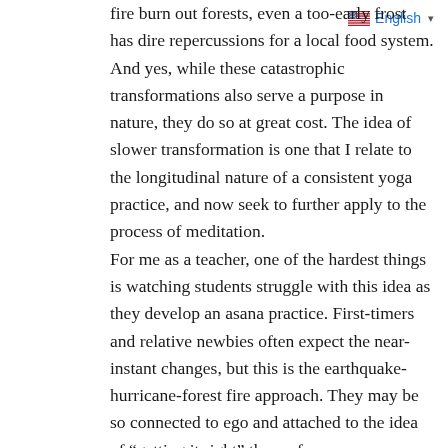fire burn out forests, even a too-early frost has dire repercussions for a local food system. And yes, while these catastrophic transformations also serve a purpose in nature, they do so at great cost. The idea of slower transformation is one that I relate to the longitudinal nature of a consistent yoga practice, and now seek to further apply to the process of meditation.
For me as a teacher, one of the hardest things is watching students struggle with this idea as they develop an asana practice. First-timers and relative newbies often expect the near-instant changes, but this is the earthquake-hurricane-forest fire approach. They may be so connected to ego and attached to the idea of “getting it right” they refuse props, or wrench themselves into revolved triangle no matter how shaky or painful and misaligned it may be, or simply refuse to rest when they need to because they – we all! – hold dear notions of getting it perfect right out of the gate. Few, if any, come to their first yoga class and nail peacock pose, freestanding handstand, or an extended downdog hold.